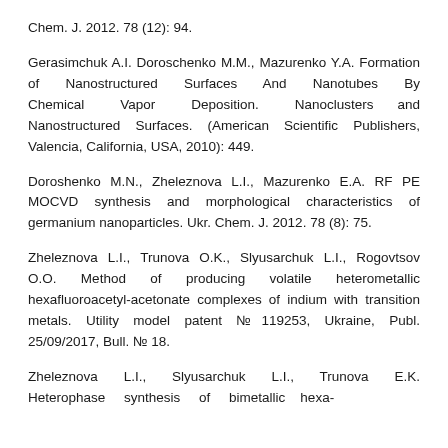Chem. J. 2012. 78 (12): 94.
Gerasimchuk A.I. Doroschenko M.M., Mazurenko Y.A. Formation of Nanostructured Surfaces And Nanotubes By Chemical Vapor Deposition. Nanoclusters and Nanostructured Surfaces. (American Scientific Publishers, Valencia, California, USA, 2010): 449.
Doroshenko M.N., Zheleznova L.I., Mazurenko E.A. RF PE MOCVD synthesis and morphological characteristics of germanium nanoparticles. Ukr. Chem. J. 2012. 78 (8): 75.
Zheleznova L.I., Trunova O.K., Slyusarchuk L.I., Rogovtsov O.O. Method of producing volatile heterometallic hexafluoroacetyl-acetonate complexes of indium with transition metals. Utility model patent №119253, Ukraine, Publ. 25/09/2017, Bull. № 18.
Zheleznova L.I., Slyusarchuk L.I., Trunova E.K. Heterophase synthesis of bimetallic hexa-